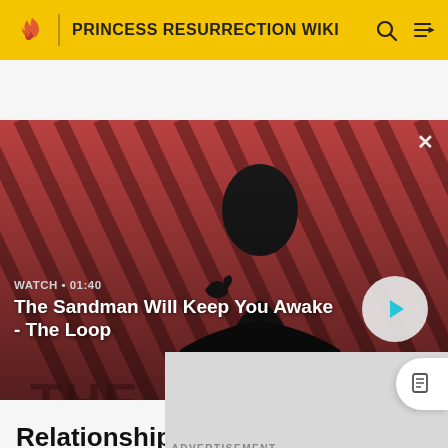PRINCESS RESURRECTION WIKI
[Figure (screenshot): Video thumbnail for 'The Sandman Will Keep You Awake - The Loop' with a dark-cloaked figure and a crow on a red diagonal striped background. Shows WATCH • 01:40 and a play button.]
ADVERTISEMENT
Relationships
Sherwood von Phoenix